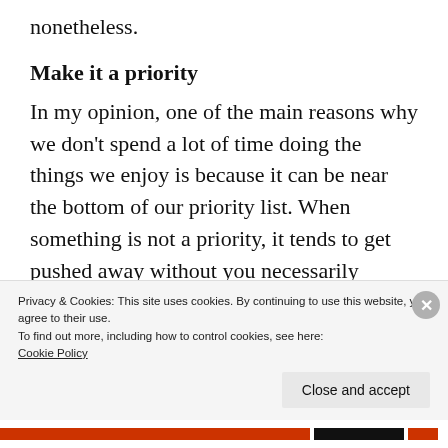nonetheless.
Make it a priority
In my opinion, one of the main reasons why we don't spend a lot of time doing the things we enjoy is because it can be near the bottom of our priority list. When something is not a priority, it tends to get pushed away without you necessarily noticing. Furthermore, when we are consumed with a busy schedule, the
Privacy & Cookies: This site uses cookies. By continuing to use this website, you agree to their use.
To find out more, including how to control cookies, see here:
Cookie Policy
Close and accept